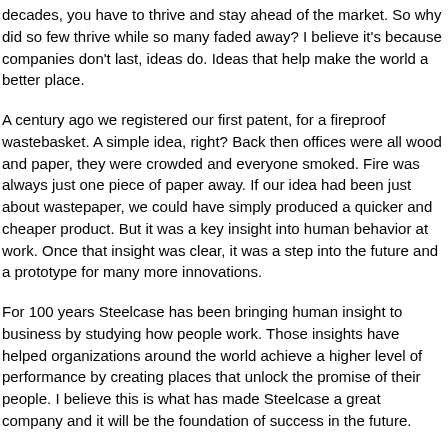decades, you have to thrive and stay ahead of the market. So why did so few thrive while so many faded away? I believe it's because companies don't last, ideas do. Ideas that help make the world a better place.
A century ago we registered our first patent, for a fireproof wastebasket. A simple idea, right? Back then offices were all wood and paper, they were crowded and everyone smoked. Fire was always just one piece of paper away. If our idea had been just about wastepaper, we could have simply produced a quicker and cheaper product. But it was a key insight into human behavior at work. Once that insight was clear, it was a step into the future and a prototype for many more innovations.
For 100 years Steelcase has been bringing human insight to business by studying how people work. Those insights have helped organizations around the world achieve a higher level of performance by creating places that unlock the promise of their people. I believe this is what has made Steelcase a great company and it will be the foundation of success in the future.